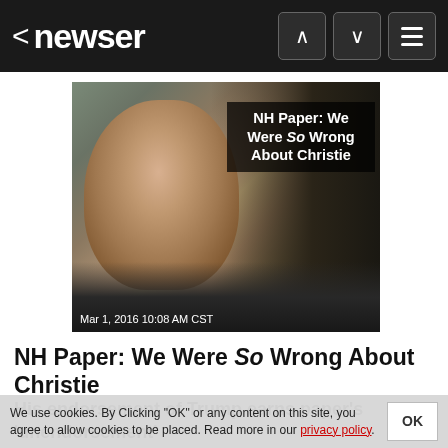< newser
[Figure (photo): Photo of Chris Christie with overlay text 'NH Paper: We Were So Wrong About Christie' and timestamp 'Mar 1, 2016 10:08 AM CST']
NH Paper: We Were So Wrong About Christie
His endorsement of Trump earns paper's 'unendorsement'
(NEWSER) - "Boy, were we wrong." So starts an "unendorsement" from publisher Joseph W. McQuaid in New Hampshire's Union Leader. McQuaid had endorsed Chris Christie in the
We use cookies. By Clicking "OK" or any content on this site, you agree to allow cookies to be placed. Read more in our privacy policy.